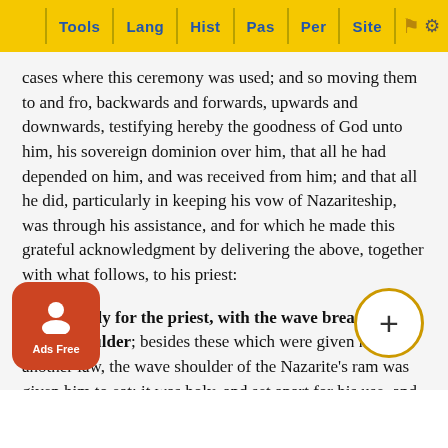Tools | Lang | Hist | Pas | Per | Site
cases where this ceremony was used; and so moving them to and fro, backwards and forwards, upwards and downwards, testifying hereby the goodness of God unto him, his sovereign dominion over him, that all he had depended on him, and was received from him; and that all he did, particularly in keeping his vow of Nazariteship, was through his assistance, and for which he made this grateful acknowledgment by delivering the above, together with what follows, to his priest:
this [is] holy for the priest, with the wave breast and heave shoulder; besides these which were given him by another law, the wave shoulder of the Nazarite's ram was given him to eat; it was holy, and set apart for his use, and his only and belonged not in common to the course of the priests duty, but to him only that officiated in this peculiar service; and so it is observed by the Jewish writers c, that the N... n to every... s